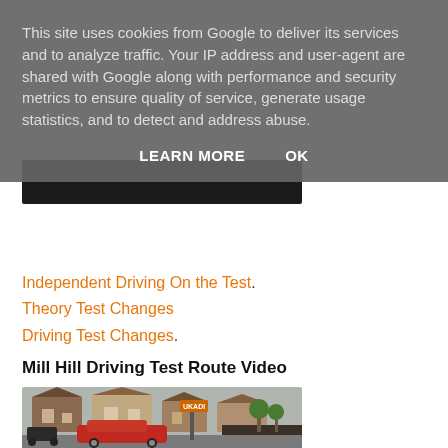This site uses cookies from Google to deliver its services and to analyze traffic. Your IP address and user-agent are shared with Google along with performance and security metrics to ensure quality of service, generate usage statistics, and to detect and address abuse.
LEARN MORE   OK
[Figure (photo): Dark image strip partially visible below cookie banner]
£7.99 Buy Now
Independent Driving On the Test.
Theory Test Changes
Driving Test Changes.
Mill Hill Driving Test Route Video
[Figure (photo): Street scene showing residential houses and a red car, with UKADI watermark visible]